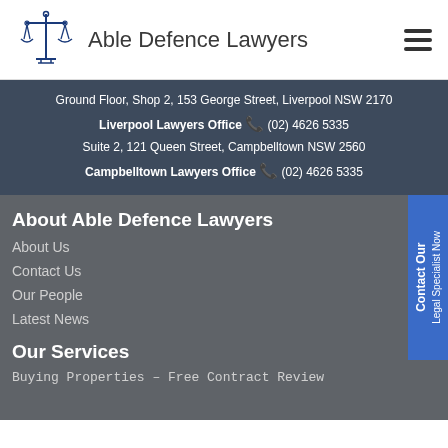Able Defence Lawyers
Ground Floor, Shop 2, 153 George Street, Liverpool NSW 2170
Liverpool Lawyers Office (02) 4626 5335
Suite 2, 121 Queen Street, Campbelltown NSW 2560
Campbelltown Lawyers Office (02) 4626 5335
About Able Defence Lawyers
About Us
Contact Us
Our People
Latest News
Our Services
Buying Properties – Free Contract Review
Contact Our Legal Specialist Now